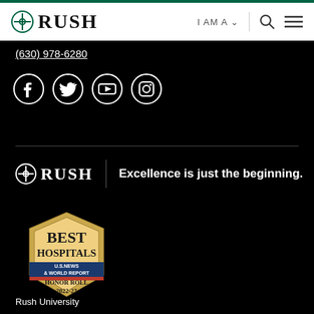RUSH | I AM A ▾ 🔍 ≡
(630) 978-6280
[Figure (other): Social media icons: Facebook, Twitter, YouTube, Instagram — white circle outlines on black background]
[Figure (logo): RUSH logo with tagline: Excellence is just the beginning.]
[Figure (other): US News Best Hospitals Honor Roll 2022-23 badge]
Rush University